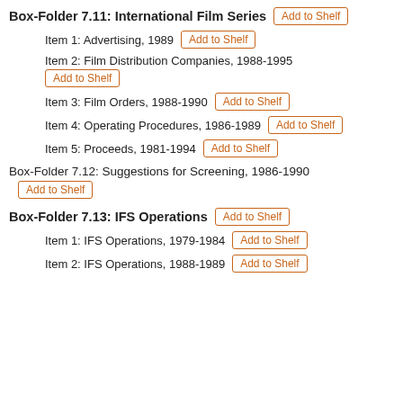Box-Folder 7.11: International Film Series
Item 1: Advertising, 1989
Item 2: Film Distribution Companies, 1988-1995
Item 3: Film Orders, 1988-1990
Item 4: Operating Procedures, 1986-1989
Item 5: Proceeds, 1981-1994
Box-Folder 7.12: Suggestions for Screening, 1986-1990
Box-Folder 7.13: IFS Operations
Item 1: IFS Operations, 1979-1984
Item 2: IFS Operations, 1988-1989